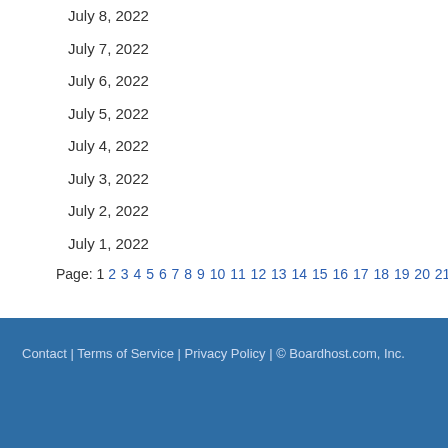July 8, 2022
July 7, 2022
July 6, 2022
July 5, 2022
July 4, 2022
July 3, 2022
July 2, 2022
July 1, 2022
Page: 1 2 3 4 5 6 7 8 9 10 11 12 13 14 15 16 17 18 19 20 21 22 23 24 25 26 27
Contact | Terms of Service | Privacy Policy | © Boardhost.com, Inc.   Th…